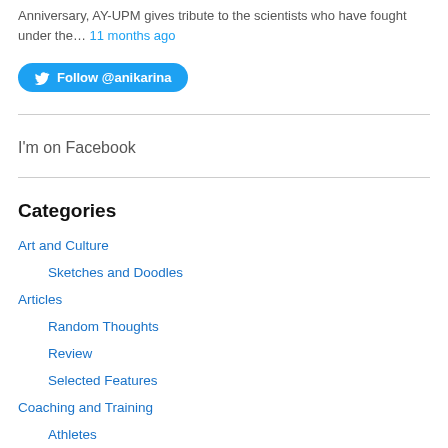Anniversary, AY-UPM gives tribute to the scientists who have fought under the… 11 months ago
[Figure (other): Twitter Follow button for @anikarina]
I'm on Facebook
Categories
Art and Culture
Sketches and Doodles
Articles
Random Thoughts
Review
Selected Features
Coaching and Training
Athletes